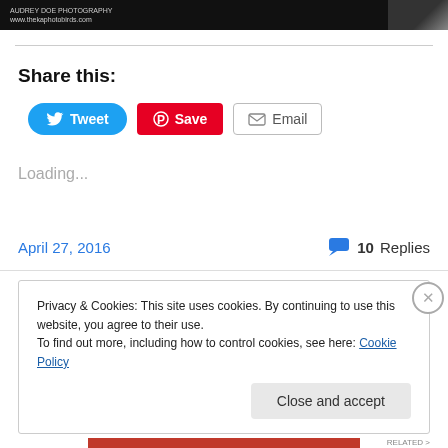[Figure (photo): Dark banner with small white text 'AUDREY DOE PHOTOGRAPHY www.thekaphotobirds.com' and a blurry image on the right]
Share this:
[Figure (infographic): Three social sharing buttons: Tweet (blue, Twitter bird icon), Save (red, Pinterest P icon), Email (white/gray, envelope icon)]
Loading...
April 27, 2016
10 Replies
Privacy & Cookies: This site uses cookies. By continuing to use this website, you agree to their use.
To find out more, including how to control cookies, see here: Cookie Policy
Close and accept